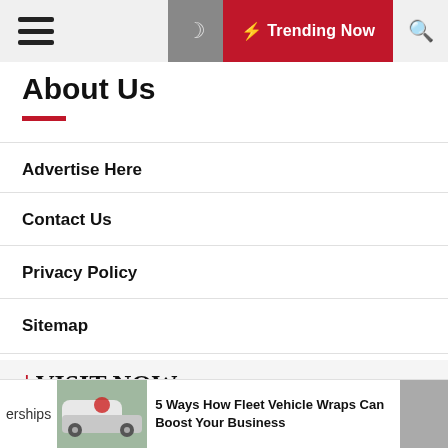Trending Now
About Us
Advertise Here
Contact Us
Privacy Policy
Sitemap
| VISIT NOW
Health care
erships
5 Ways How Fleet Vehicle Wraps Can Boost Your Business